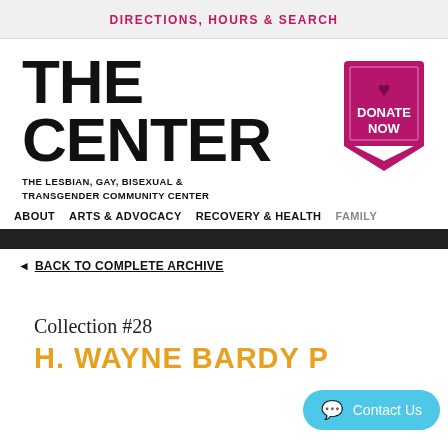DIRECTIONS, HOURS & SEARCH
[Figure (logo): The Center - The Lesbian, Gay, Bisexual & Transgender Community Center logo in bold black text]
[Figure (other): Donate Now button badge in magenta/purple with a heart icon]
ABOUT   ARTS & ADVOCACY   RECOVERY & HEALTH   FAMILY
◄ BACK TO COMPLETE ARCHIVE
Collection #28
H. WAYNE BARDY P